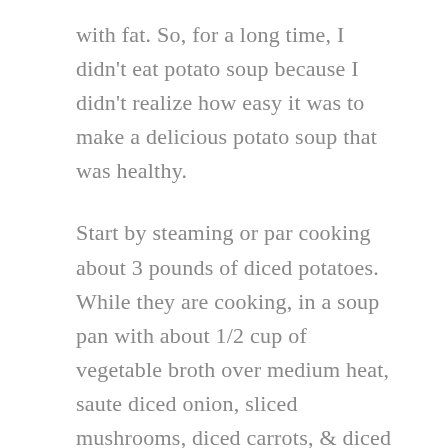with fat. So, for a long time, I didn't eat potato soup because I didn't realize how easy it was to make a delicious potato soup that was healthy.
Start by steaming or par cooking about 3 pounds of diced potatoes. While they are cooking, in a soup pan with about 1/2 cup of vegetable broth over medium heat, saute diced onion, sliced mushrooms, diced carrots, & diced celery for about 7 minutes, or until they are tender. When the vegetables have softened I add about 2 cups of vegetable broth, about 1 cup of unsweetened plant-based milk, and about 1 cup of water.
When the potatoes are tender, add them to the soup pot. Mash the soup with a potato masher, it is